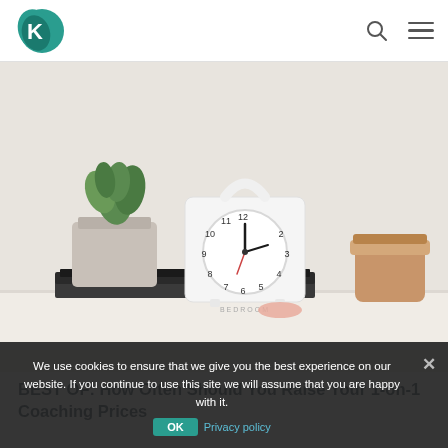Logo and navigation header
[Figure (photo): A white alarm clock sitting on a notebook on a white desk, with a green succulent plant in a pot to the left and a gold/rose jar to the right, against a white background.]
We use cookies to ensure that we give you the best experience on our website. If you continue to use this site we will assume that you are happy with it.
BEST OF: How Often Should You Raise Your 1-on-1 Coaching Prices